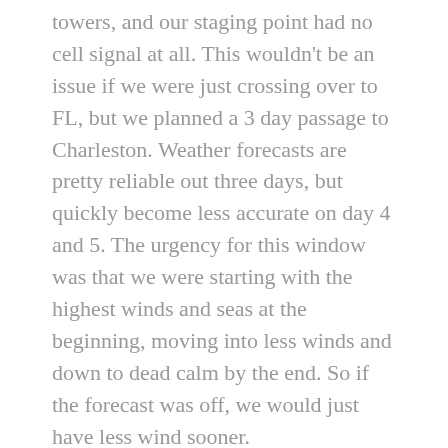towers, and our staging point had no cell signal at all. This wouldn't be an issue if we were just crossing over to FL, but we planned a 3 day passage to Charleston. Weather forecasts are pretty reliable out three days, but quickly become less accurate on day 4 and 5. The urgency for this window was that we were starting with the highest winds and seas at the beginning, moving into less winds and down to dead calm by the end. So if the forecast was off, we would just have less wind sooner.
Our plan called for departing Great Sale Cay at 9AM and then traveling 9 hours to the edge of the Bahama Bank to a place called Mantanilla Shoal. Our plan was to drop the hook 'in the middle of nowhere' for the night with a 5AM departure. We were trying to limit our passage to one overnight. The two adults could have gone all the way to NJ, on 4 hour watches, but it is tough to tell the girls (who are not on 4 hour watches) that they can't bother "mommy" or "daddy" when they are not at helm